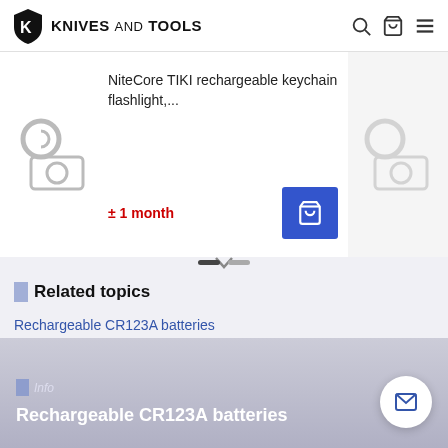KNIVES AND TOOLS
[Figure (screenshot): Product card showing NiteCore TIKI rechargeable keychain flashlight with placeholder image, delivery time '± 1 month' in red, and blue add-to-cart button]
Related topics
Rechargeable CR123A batteries
[Figure (photo): Image placeholder for Rechargeable CR123A batteries article]
Info
Rechargeable CR123A batteries